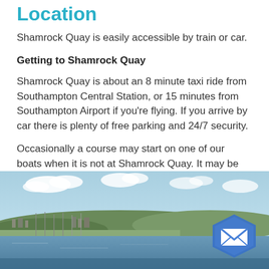Location
Shamrock Quay is easily accessible by train or car.
Getting to Shamrock Quay
Shamrock Quay is about an 8 minute taxi ride from Southampton Central Station, or 15 minutes from Southampton Airport if you're flying. If you arrive by car there is plenty of free parking and 24/7 security.
Occasionally a course may start on one of our boats when it is not at Shamrock Quay. It may be very close to Shamrock Quay or in Hamble. We will give you plenty of notice when this is the case.
[Figure (photo): Aerial or harbour-view photo of Shamrock Quay marina and waterfront with green hills in background, blue sky with clouds. A blue hexagonal email contact button overlays the bottom-right corner.]